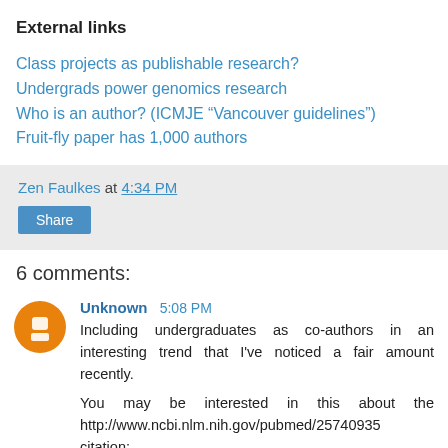External links
Class projects as publishable research?
Undergrads power genomics research
Who is an author? (ICMJE “Vancouver guidelines”)
Fruit-fly paper has 1,000 authors
Zen Faulkes at 4:34 PM
Share
6 comments:
Unknown 5:08 PM
Including undergraduates as co-authors in an interesting trend that I've noticed a fair amount recently.
You may be interested in this about the http://www.ncbi.nlm.nih.gov/pubmed/25740935 citation: